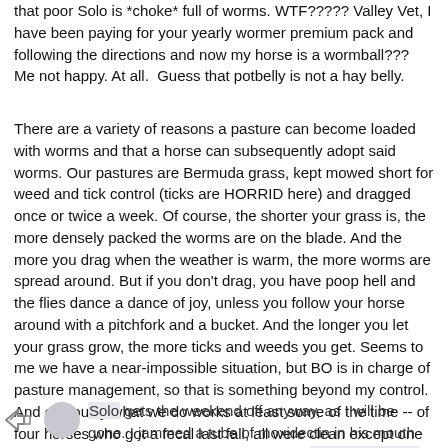that poor Solo is *choke* full of worms. WTF????? Valley Vet, I have been paying for your yearly wormer premium pack and following the directions and now my horse is a wormball??? Me not happy. At all.  Guess that potbelly is not a hay belly.
There are a variety of reasons a pasture can become loaded with worms and that a horse can subsequently adopt said worms. Our pastures are Bermuda grass, kept mowed short for weed and tick control (ticks are HORRID here) and dragged once or twice a week. Of course, the shorter your grass is, the more densely packed the worms are on the blade. And the more you drag when the weather is warm, the more worms are spread around. But if you don't drag, you have poop hell and the flies dance a dance of joy, unless you follow your horse around with a pitchfork and a bucket. And the longer you let your grass grow, the more ticks and weeds you get. Seems to me we have a near-impossible situation, but BO is in charge of pasture management, so that is something beyond my control. And obviously what we do works at least some of the time -- of four horses who got a fecal last fall, all were clean except one who just had a few scattered worms (he is an old guy).
Solo gets the weekend off anyway, as I will be gone. I jammed a tube of moxidectin in his mouth when I brought him back to the farm, horrified that my horse is parasite-ridden despite my...